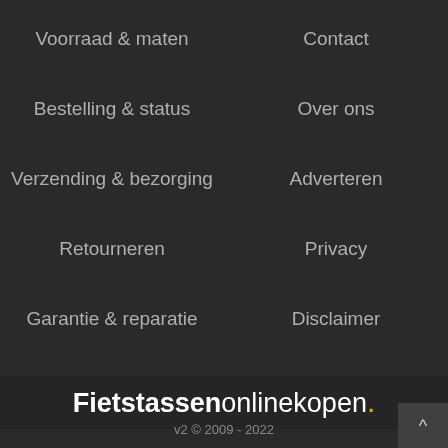Voorraad & maten
Bestelling & status
Verzending & bezorging
Retourneren
Garantie & reparatie
Contact
Over ons
Adverteren
Privacy
Disclaimer
Fietstassenonlinekopen.
v2 © 2009 - 2022